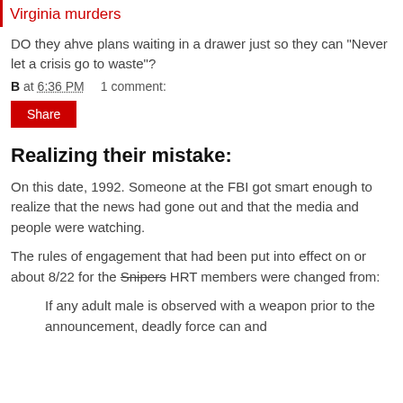Virginia murders
DO they ahve plans waiting in a drawer just so they can "Never let a crisis go to waste"?
B at 6:36 PM    1 comment:
Share
Realizing their mistake:
On this date, 1992. Someone at the FBI got smart enough to realize that the news had gone out and that the media and people were watching.
The rules of engagement that had been put into effect on or about 8/22 for the Snipers HRT members were changed from:
If any adult male is observed with a weapon prior to the announcement, deadly force can and